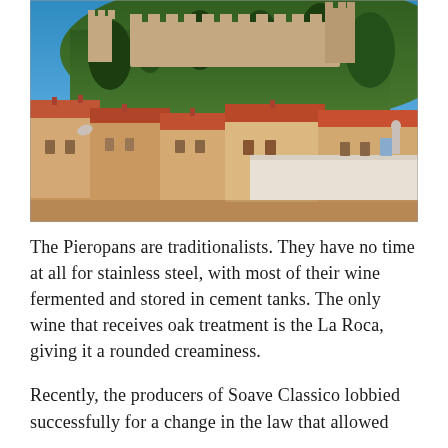[Figure (photo): Aerial view of an Italian hilltop town with terracotta-roofed buildings in the foreground and a medieval castle on a forested hill under a clear blue sky.]
The Pieropans are traditionalists. They have no time at all for stainless steel, with most of their wine fermented and stored in cement tanks. The only wine that receives oak treatment is the La Roca, giving it a rounded creaminess.
Recently, the producers of Soave Classico lobbied successfully for a change in the law that allowed